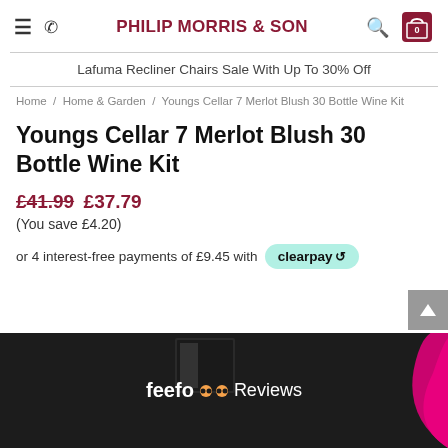PHILIP MORRIS & SON
Lafuma Recliner Chairs Sale With Up To 30% Off
Home / Home & Garden / Youngs Cellar 7 Merlot Blush 30 Bottle Wine Kit
Youngs Cellar 7 Merlot Blush 30 Bottle Wine Kit
£41.99 £37.79
(You save £4.20)
or 4 interest-free payments of £9.45 with clearpay
[Figure (screenshot): Product image area showing a dark box of Youngs Cellar wine kit with a Feefo Reviews badge overlay and a pink swoosh graphic]